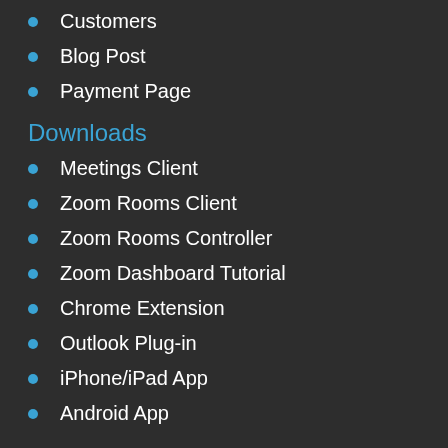Customers
Blog Post
Payment Page
Downloads
Meetings Client
Zoom Rooms Client
Zoom Rooms Controller
Zoom Dashboard Tutorial
Chrome Extension
Outlook Plug-in
iPhone/iPad App
Android App
Sales
+61 (02) 8022 8360